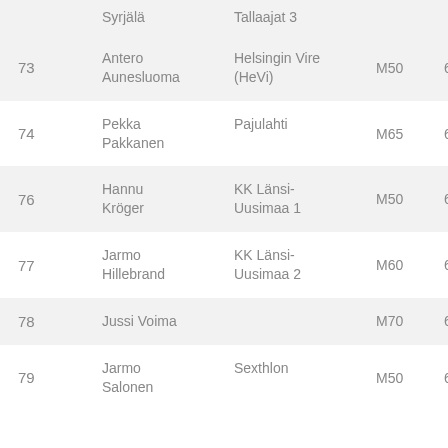| Rank | Name | Club | Category | Score |  |
| --- | --- | --- | --- | --- | --- |
|  | Syrjälä | Tallaajat 3 |  |  |  |
| 73 | Antero Aunesluoma | Helsingin Vire (HeVi) | M50 | 669,27 | 2 |
| 74 | Pekka Pakkanen | Pajulahti | M65 | 668,87 | 2 |
| 76 | Hannu Kröger | KK Länsi-Uusimaa 1 | M50 | 665,57 | 2 |
| 77 | Jarmo Hillebrand | KK Länsi-Uusimaa 2 | M60 | 665,44 | 2 |
| 78 | Jussi Voima |  | M70 | 664,25 | 2 |
| 79 | Jarmo Salonen | Sexthlon | M50 | 657,8 | 2 |